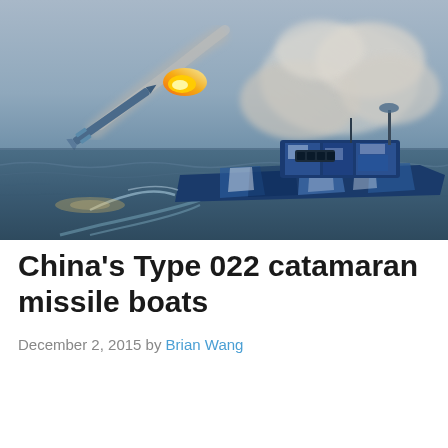[Figure (photo): A Chinese Type 022 catamaran missile boat painted in blue camouflage pattern firing a missile. The missile is visible in the upper left trailing a bright orange flame and white smoke trail. The vessel is at sea with gray-blue water and overcast sky in the background.]
China's Type 022 catamaran missile boats
December 2, 2015 by Brian Wang